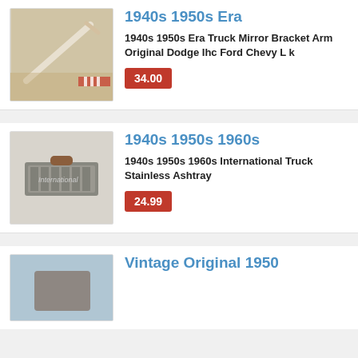[Figure (photo): Vintage truck mirror bracket arm, beige/cream colored metal part against a cardboard background]
1940s 1950s Era
1940s 1950s Era Truck Mirror Bracket Arm Original Dodge Ihc Ford Chevy L k
34.00
[Figure (photo): Vintage International truck stainless ashtray, silver/chrome colored rectangular ashtray with International branding]
1940s 1950s 1960s
1940s 1950s 1960s International Truck Stainless Ashtray
24.99
[Figure (photo): Partial view of a vintage item, blue/brown tones, partially cropped]
Vintage Original 1950